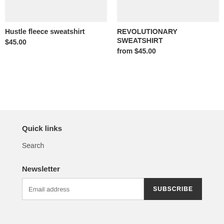Hustle fleece sweatshirt
$45.00
REVOLUTIONARY SWEATSHIRT
from $45.00
Quick links
Search
Newsletter
Email address
SUBSCRIBE